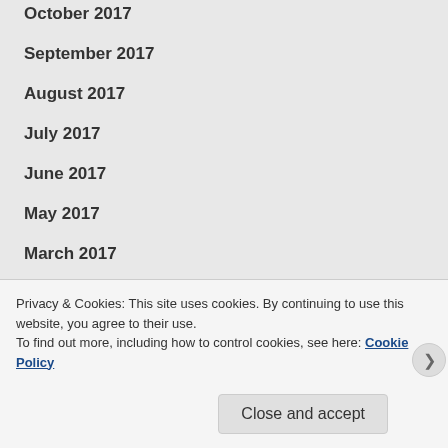October 2017
September 2017
August 2017
July 2017
June 2017
May 2017
March 2017
February 2017
Privacy & Cookies: This site uses cookies. By continuing to use this website, you agree to their use.
To find out more, including how to control cookies, see here: Cookie Policy
Close and accept